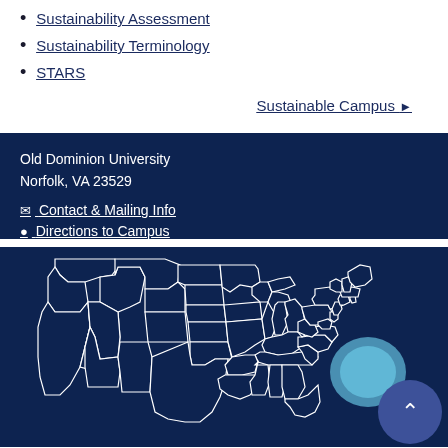Sustainability Assessment
Sustainability Terminology
STARS
Sustainable Campus ▶
Old Dominion University
Norfolk, VA 23529
✉ Contact & Mailing Info
📍 Directions to Campus
[Figure (map): Outline map of the contiguous United States on a dark navy background, with a light blue teardrop location marker over Virginia/Norfolk area. A circular back-to-top button with a chevron is overlaid at the bottom right.]